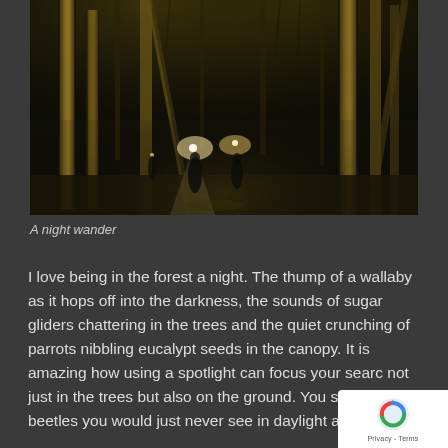[Figure (photo): A dark nighttime forest scene with tall illuminated tree trunks. Two or three people are visible in the distance with headlamps/lights cutting through the darkness. The trees are lit from below with golden/yellow light against a black background.]
A night wander
I love being in the forest a night. The thump of a wallaby as it hops off into the darkness, the sounds of sugar gliders chattering in the trees and the quiet crunching of parrots nibbling eucalypt seeds in the canopy. It is amazing how using a spotlight can focus your search not just in the trees but also on the ground. You see and beetles you would just never see in daylight and